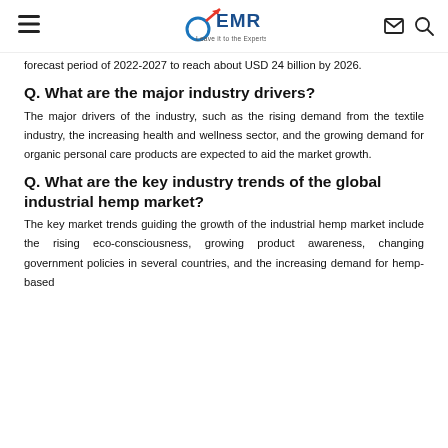EMR — Leave it to the Experts
forecast period of 2022-2027 to reach about USD 24 billion by 2026.
Q. What are the major industry drivers?
The major drivers of the industry, such as the rising demand from the textile industry, the increasing health and wellness sector, and the growing demand for organic personal care products are expected to aid the market growth.
Q. What are the key industry trends of the global industrial hemp market?
The key market trends guiding the growth of the industrial hemp market include the rising eco-consciousness, growing product awareness, changing government policies in several countries, and the increasing demand for hemp-based